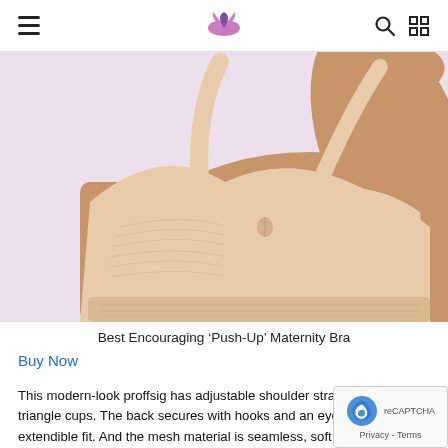Navigation header with hamburger menu, logo, search and grid icons
[Figure (photo): Woman wearing a beige/nude seamless push-up maternity bra, showing front and strap detail, cropped at chest level]
Best Encouraging ‘Push-Up’ Maternity Bra
Buy Now
This modern-look proffsig has adjustable shoulder straps plus stylish triangle cups. The back secures with hooks and an eye for a snug, but extendible fit. And the mesh material is seamless, soft plus comfortable. The bra is almost unseen under clothing and the